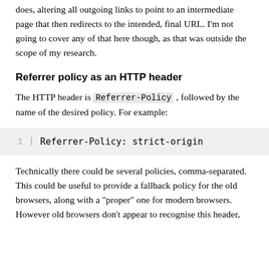does, altering all outgoing links to point to an intermediate page that then redirects to the intended, final URL. I'm not going to cover any of that here though, as that was outside the scope of my research.
Referrer policy as an HTTP header
The HTTP header is Referrer-Policy , followed by the name of the desired policy. For example:
1  Referrer-Policy: strict-origin
Technically there could be several policies, comma-separated. This could be useful to provide a fallback policy for the old browsers, along with a "proper" one for modern browsers. However old browsers don't appear to recognise this header,